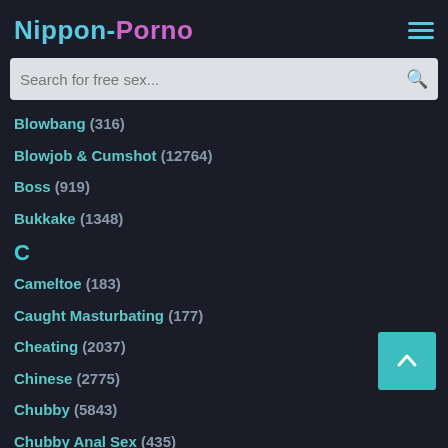Nippon-Porno
Search for free sex...
Blowbang (316)
Blowjob & Cumshot (12764)
Boss (919)
Bukkake (1348)
C
Cameltoe (183)
Caught Masturbating (177)
Cheating (2037)
Chinese (2775)
Chubby (5843)
Chubby Anal Sex (435)
Club (568)
Cougar (9641)